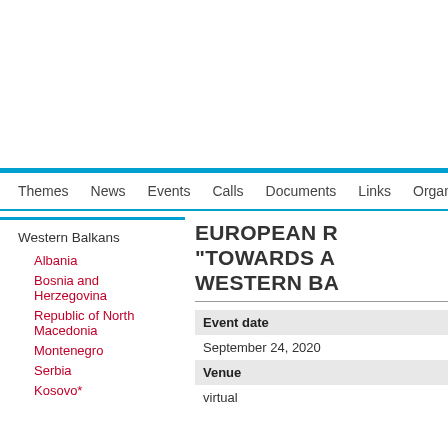Themes  News  Events  Calls  Documents  Links  Organis…
Western Balkans
Albania
Bosnia and Herzegovina
Republic of North Macedonia
Montenegro
Serbia
Kosovo*
EUROPEAN R… "TOWARDS A… WESTERN BA…
| Event date |
| --- |
| September 24, 2020 |
| Venue |
| --- |
| virtual |